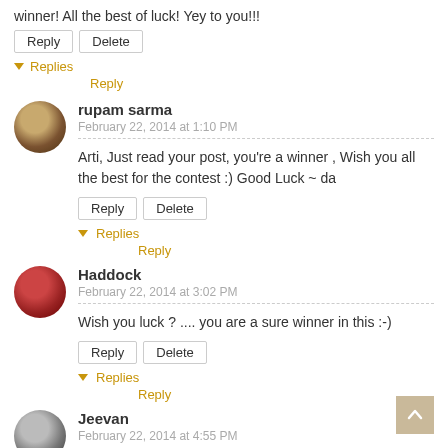winner! All the best of luck! Yey to you!!!
Reply  Delete
▼ Replies
    Reply
rupam sarma
February 22, 2014 at 1:10 PM
Arti, Just read your post, you're a winner , Wish you all the best for the contest :) Good Luck ~ da
Reply  Delete
▼ Replies
    Reply
Haddock
February 22, 2014 at 3:02 PM
Wish you luck ? .... you are a sure winner in this :-)
Reply  Delete
▼ Replies
    Reply
Jeevan
February 22, 2014 at 4:55 PM